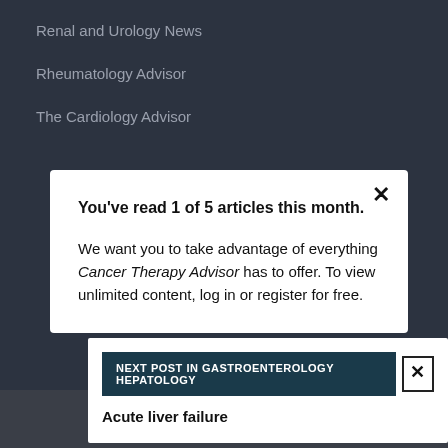Renal and Urology News
Rheumatology Advisor
The Cardiology Advisor
You've read 1 of 5 articles this month. We want you to take advantage of everything Cancer Therapy Advisor has to offer. To view unlimited content, log in or register for free.
NEXT POST IN GASTROENTEROLOGY HEPATOLOGY
Acute liver failure